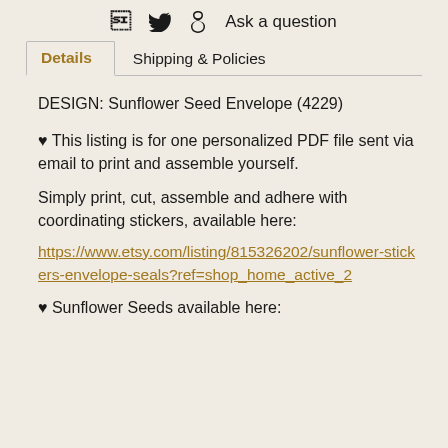f  twitter  p  Ask a question
Details   Shipping & Policies
DESIGN: Sunflower Seed Envelope (4229)
♥ This listing is for one personalized PDF file sent via email to print and assemble yourself.
Simply print, cut, assemble and adhere with coordinating stickers, available here:
https://www.etsy.com/listing/815326202/sunflower-stickers-envelope-seals?ref=shop_home_active_2
♥ Sunflower Seeds available here: